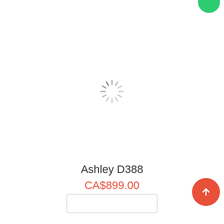[Figure (other): Green circular button in top right corner]
[Figure (other): Loading spinner icon (grey radial lines) centered on page]
Ashley D388
CA$899.00
[Figure (other): Red circular up-arrow button in bottom right corner]
[Figure (other): White add-to-cart button bar at bottom center]